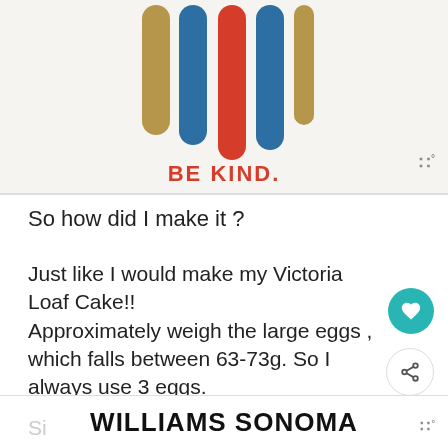[Figure (illustration): Colorful vertical stripes illustration with red, dark gold/tan, and teal/blue colors, with 'BE KIND.' text in red below the stripes on a cream/off-white background]
So how did I make it ?
Just like I would make my Victoria Loaf Cake!!
Approximately weigh the large eggs , which falls between 63-73g. So I always use 3 eggs.
Then weigh out Flour, Sugar and Butter to ne... the rest.
Si...
[Figure (logo): Williams Sonoma logo text in black uppercase bold letters on white background]
[Figure (infographic): WHAT'S NEXT panel showing Berry Coconut Chia Seeds... with a food image thumbnail]